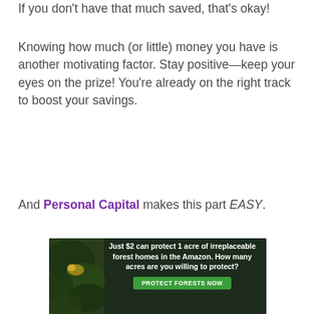If you don't have that much saved, that's okay!
Knowing how much (or little) money you have is another motivating factor. Stay positive—keep your eyes on the prize! You're already on the right track to boost your savings.
And Personal Capital makes this part EASY.
[Figure (other): Advertisement banner: dark green background with forest/Amazon imagery on left, text reading 'Just $2 can protect 1 acre of irreplaceable forest homes in the Amazon. How many acres are you willing to protect?' with a green 'PROTECT FORESTS NOW' button.]